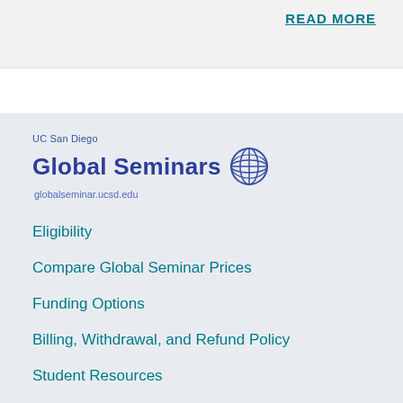READ MORE
[Figure (logo): UC San Diego Global Seminars logo with globe icon and URL globalseminar.ucsd.edu]
Eligibility
Compare Global Seminar Prices
Funding Options
Billing, Withdrawal, and Refund Policy
Student Resources
FAQ